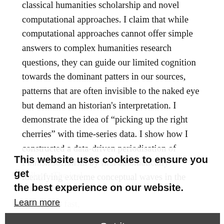classical humanities scholarship and novel computational approaches. I claim that while computational approaches cannot offer simple answers to complex humanities research questions, they can guide our limited cognition towards the dominant patters in our sources, patterns that are often invisible to the naked eye but demand an historian's interpretation. I demonstrate the idea of "picking up the right cherries" with time-series data. I show how I constructed a data-driven periodisation of Finnish socialism by first automatically identifying extreme conceptual waves in the press and then explaining their peaks and valleys. The ideal digital box that the human has pre-defined for it, whereas human flexibility is needed for connections to the intellectual resources outside the box.
This website uses cookies to ensure you get the best experience on our website.
Learn more
Got it